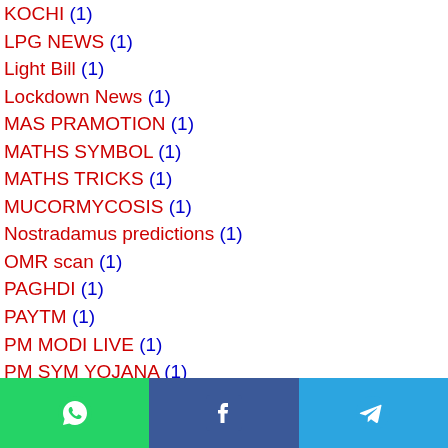KOCHI (1)
LPG NEWS (1)
Light Bill (1)
Lockdown News (1)
MAS PRAMOTION (1)
MATHS SYMBOL (1)
MATHS TRICKS (1)
MUCORMYCOSIS (1)
Nostradamus predictions (1)
OMR scan (1)
PAGHDI (1)
PAYTM (1)
PM MODI LIVE (1)
PM SYM YOJANA (1)
PUBLIC HOLIDAY (1)
Pagar grant (1)
RADIO STATION (1)
[Figure (infographic): Bottom social sharing bar with WhatsApp (green), Facebook (blue), and Telegram (light blue) icons]